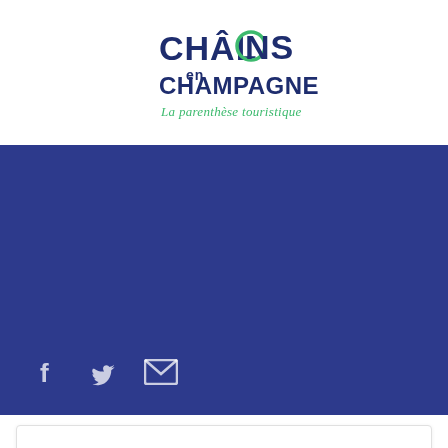[Figure (logo): Châlons en Champagne logo with text 'La parenthèse touristique']
[Figure (illustration): Dark blue banner with Facebook, Twitter, and email social media icons at the bottom left]
[Figure (illustration): White card with hamburger menu icon at the right]